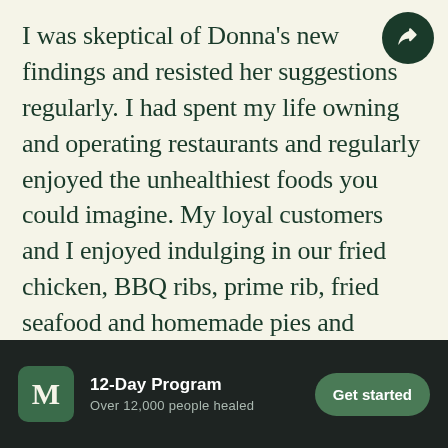I was skeptical of Donna's new findings and resisted her suggestions regularly. I had spent my life owning and operating restaurants and regularly enjoyed the unhealthiest foods you could imagine. My loyal customers and I enjoyed indulging in our fried chicken, BBQ ribs, prime rib, fried seafood and homemade pies and muffins. At age 55, I was able to retire early and sold my restaurant, which I knew had taken its toll on my health from both the food and the stress. I then decided to make my wellness my new
12-Day Program | Over 12,000 people healed | Get started